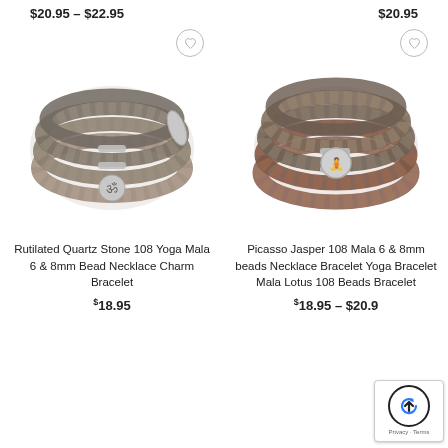$20.95 – $22.95
$20.95
[Figure (photo): Rutilated Quartz Stone 108 Yoga Mala beaded bracelet with Om charm, grey/brown beads coiled in spiral]
[Figure (photo): Picasso Jasper 108 Mala beaded bracelet with Buddha charm, multicolor earth-tone beads coiled in spiral]
Rutilated Quartz Stone 108 Yoga Mala 6 & 8mm Bead Necklace Charm Bracelet
Picasso Jasper 108 Mala 6 & 8mm beads Necklace Bracelet Yoga Bracelet Mala Lotus 108 Beads Bracelet
$18.95
$18.95 – $20.95